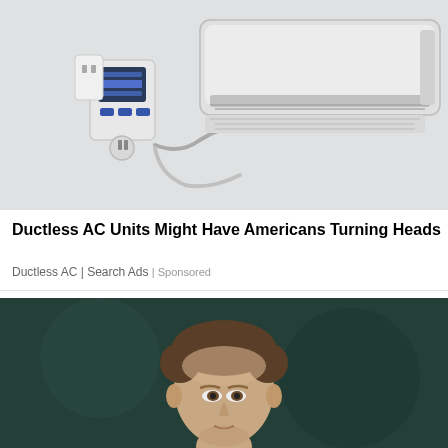[Figure (photo): A white ductless mini-split air conditioning unit mounted on a wall, with a smart plug/energy monitor plugged into an outlet nearby. The photo is on a white background.]
Ductless AC Units Might Have Americans Turning Heads
Ductless AC | Search Ads | Sponsored
[Figure (photo): A man with short brown hair, appears to be a sports figure or manager, photographed in front of a dark teal/green background. Only head and shoulders visible.]